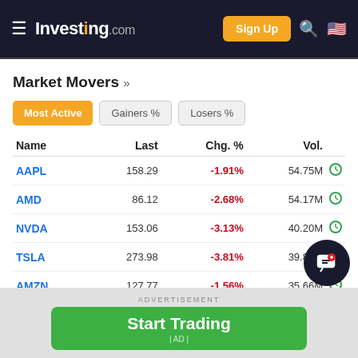Investing.com — Sign Up
Market Movers »
Most Active | Gainers % | Losers %
| Name | Last | Chg. % | Vol. |
| --- | --- | --- | --- |
| AAPL | 158.29 | -1.91% | 54.75M |
| AMD | 86.12 | -2.68% | 54.17M |
| NVDA | 153.06 | -3.13% | 40.20M |
| TSLA | 273.98 | -3.81% | 39.83M |
| AMZN | 127.77 | -1.56% | 35.66M |
| MMM | 123.62 | -2.23% | 21... |
| MSFT | 261.80 | -1.29% | 1... |
ADVERTISEMENT
Start Trading | AD |